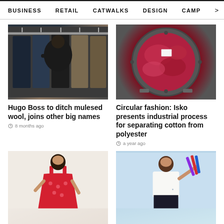BUSINESS   RETAIL   CATWALKS   DESIGN   CAMP >
[Figure (photo): Person browsing suits on a rack in a clothing store, dark jackets hanging, viewed from behind]
Hugo Boss to ditch mulesed wool, joins other big names
8 months ago
[Figure (photo): Industrial washing machine drum filled with bright pink/red fabric textile material, circular industrial drum view from above]
Circular fashion: Isko presents industrial process for separating cotton from polyester
a year ago
[Figure (photo): Young woman wearing a red floral mini dress, seated pose, light background]
[Figure (photo): Female model in white t-shirt holding colorful fabric strips, light blue sky background]